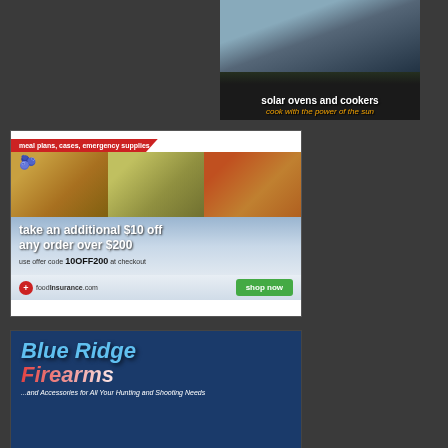[Figure (photo): Solar ovens and cookers advertisement banner with photo of reflective solar cookers on grass, white text 'solar ovens and cookers' and orange italic text 'cook with the power of the sun']
[Figure (photo): Food Insurance advertisement showing meal photos (blueberry dessert, pasta salad, spaghetti), red banner 'meal plans, cases, emergency supplies', blue gradient background with text 'take an additional $10 off any order over $200', offer code '10OFF200', foodinsurance.com logo, green 'shop now' button]
[Figure (photo): Blue Ridge Firearms advertisement on dark blue background with light blue italic 'Blue Ridge' text, red-white-blue 'Firearms' text, and white italic tagline '...and Accessories for All Your Hunting and Shooting Needs']